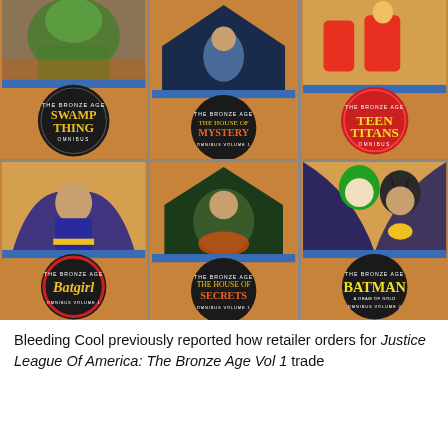[Figure (illustration): A 3x2 grid of DC Comics Bronze Age Omnibus book covers: Swamp Thing Omnibus, The House of Mystery Omnibus Volume 1, Teen Titans Omnibus, Batgirl Omnibus Volume 1, The House of Secrets Omnibus Volume 1, Batman A Dram of Gold Omnibus Volume 2]
Bleeding Cool previously reported how retailer orders for Justice League Of America: The Bronze Age Vol 1 trade